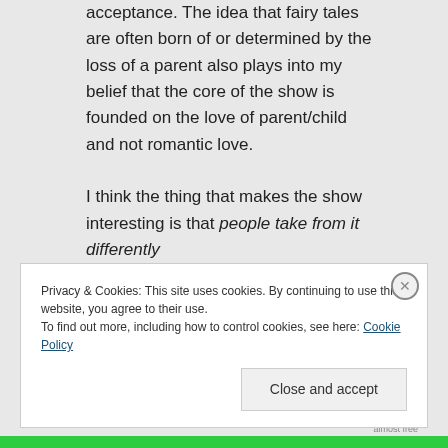acceptance. The idea that fairy tales are often born of or determined by the loss of a parent also plays into my belief that the core of the show is founded on the love of parent/child and not romantic love.

I think the thing that makes the show interesting is that people take from it differently
Privacy & Cookies: This site uses cookies. By continuing to use this website, you agree to their use.
To find out more, including how to control cookies, see here: Cookie Policy
Close and accept